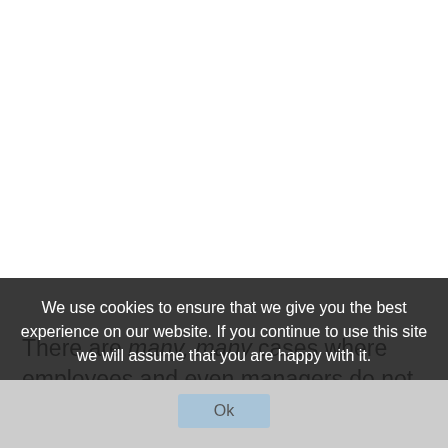There are many, many cases where employees and even managers do not understand coupons or even know their store's policy, it's sad but true. It's up to you, the coupon consumer, to know the rules and policies so you don't
We use cookies to ensure that we give you the best experience on our website. If you continue to use this site we will assume that you are happy with it.
Ok